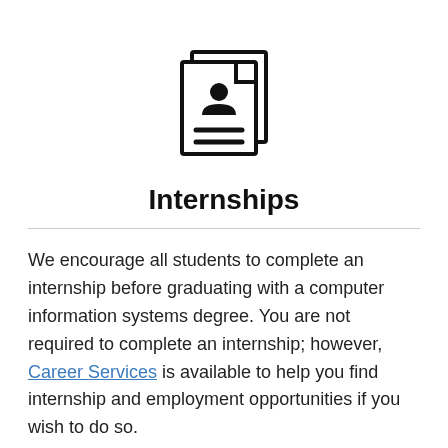[Figure (illustration): Icon of two overlapping document pages, the front one showing a person silhouette at the top and two horizontal lines below, representing a resume or CV.]
Internships
We encourage all students to complete an internship before graduating with a computer information systems degree. You are not required to complete an internship; however, Career Services is available to help you find internship and employment opportunities if you wish to do so.